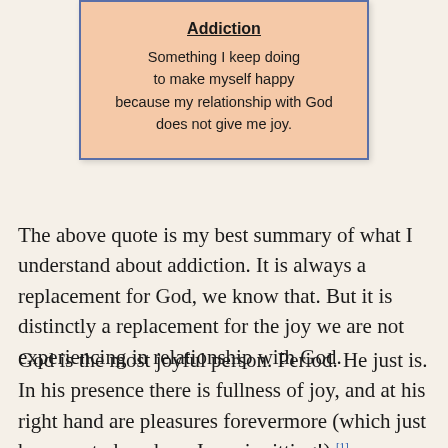[Figure (infographic): A framed box with salmon/peach background and blue border containing the definition of Addiction: 'Something I keep doing to make myself happy because my relationship with God does not give me joy.']
The above quote is my best summary of what I understand about addiction. It is always a replacement for God, we know that. But it is distinctly a replacement for the joy we are not experiencing in relationship with God.
God is the most joyful person. Period. He just is. In his presence there is fullness of joy, and at his right hand are pleasures forevermore (which just happens to be where Jesus is sitting!).[1]